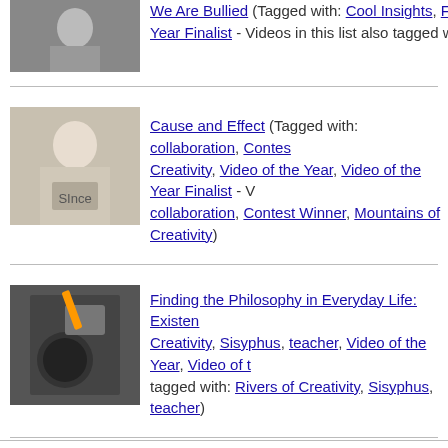[Figure (photo): Thumbnail of child/person for 'We Are Bullied' video]
We Are Bullied (Tagged with: Cool Insights, Finalist, te... Year Finalist - Videos in this list also tagged with: Cool Ins...
[Figure (photo): Thumbnail of child holding a sign for 'Cause and Effect' video]
Cause and Effect (Tagged with: collaboration, Contes... Creativity, Video of the Year, Video of the Year Finalist - V... collaboration, Contest Winner, Mountains of Creativity)
[Figure (photo): Thumbnail of hands with object for 'Finding the Philosophy in Everyday Life' video]
Finding the Philosophy in Everyday Life: Existen... Creativity, Sisyphus, teacher, Video of the Year, Video of t... tagged with: Rivers of Creativity, Sisyphus, teacher)
[Figure (photo): Thumbnail of Lego figure for 'Movie Tips and Tricks' video]
Movie Tips and Tricks (Tagged with: Contest Winner, ... student, Video of the Year, Video of the Year Finalist - Vide... Winner, Spring 2012 90-Second Shoots, student)